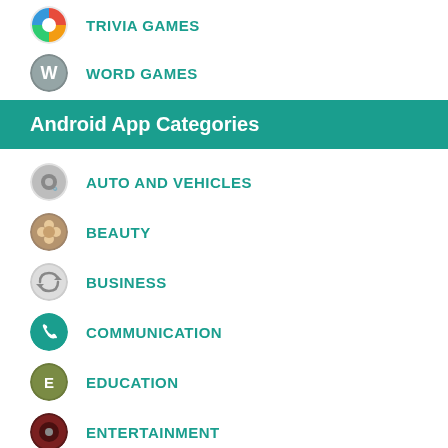TRIVIA GAMES
WORD GAMES
Android App Categories
AUTO AND VEHICLES
BEAUTY
BUSINESS
COMMUNICATION
EDUCATION
ENTERTAINMENT
FOOD AND DRINK
HEALTH AND FITNESS
HOUSE AND HOME
LIBRARIES AND DEMO